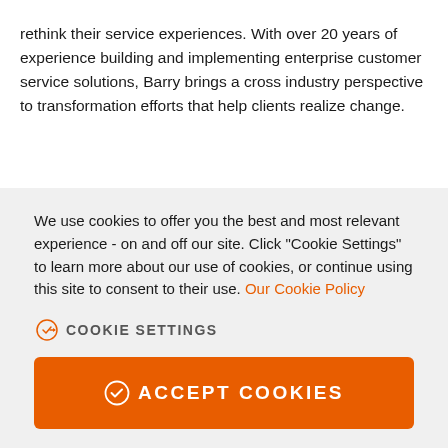rethink their service experiences. With over 20 years of experience building and implementing enterprise customer service solutions, Barry brings a cross industry perspective to transformation efforts that help clients realize change.
We use cookies to offer you the best and most relevant experience - on and off our site. Click "Cookie Settings" to learn more about our use of cookies, or continue using this site to consent to their use. Our Cookie Policy
COOKIE SETTINGS
ACCEPT COOKIES